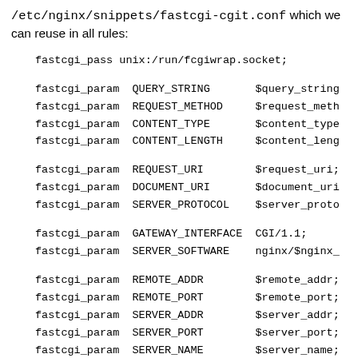/etc/nginx/snippets/fastcgi-cgit.conf which we can reuse in all rules:
fastcgi_pass unix:/run/fcgiwrap.socket;
fastcgi_param QUERY_STRING $query_string
fastcgi_param REQUEST_METHOD $request_meth
fastcgi_param CONTENT_TYPE $content_type
fastcgi_param CONTENT_LENGTH $content_leng
fastcgi_param REQUEST_URI $request_uri;
fastcgi_param DOCUMENT_URI $document_uri
fastcgi_param SERVER_PROTOCOL $server_proto
fastcgi_param GATEWAY_INTERFACE CGI/1.1;
fastcgi_param SERVER_SOFTWARE nginx/$nginx_
fastcgi_param REMOTE_ADDR $remote_addr;
fastcgi_param REMOTE_PORT $remote_port;
fastcgi_param SERVER_ADDR $server_addr;
fastcgi_param SERVER_PORT $server_port;
fastcgi_param SERVER_NAME $server_name;